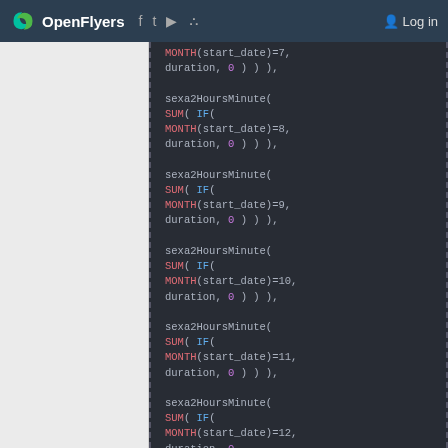OpenFlyers | Log in
Code snippet showing SQL/spreadsheet formula with sexa2HoursMinute, SUM, IF, MONTH functions for months 7 through 12